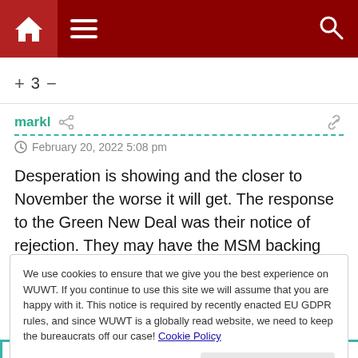[Figure (screenshot): Website navigation bar with dark red background, home icon, hamburger menu, and search icon]
+ 3 −
markl
February 20, 2022 5:08 pm
Desperation is showing and the closer to November the worse it will get. The response to the Green New Deal was their notice of rejection. They may have the MSM backing their AGW platform but the press doesn't vote and with the
We use cookies to ensure that we give you the best experience on WUWT. If you continue to use this site we will assume that you are happy with it. This notice is required by recently enacted EU GDPR rules, and since WUWT is a globally read website, we need to keep the bureaucrats off our case! Cookie Policy
Close and accept
"Vote early, vote often" (attributed to Al Capone). The Rolls in